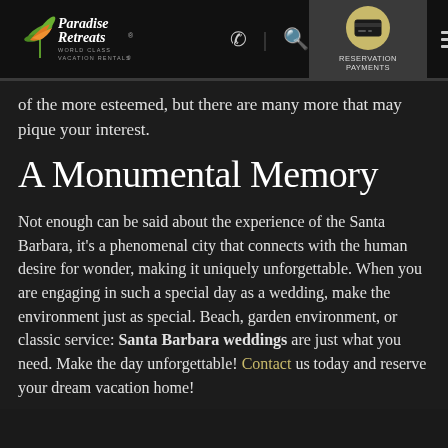Paradise Retreats World Class Vacation Rentals — RESERVATION PAYMENTS
of the more esteemed, but there are many more that may pique your interest.
A Monumental Memory
Not enough can be said about the experience of the Santa Barbara, it's a phenomenal city that connects with the human desire for wonder, making it uniquely unforgettable. When you are engaging in such a special day as a wedding, make the environment just as special. Beach, garden environment, or classic service: Santa Barbara weddings are just what you need. Make the day unforgettable! Contact us today and reserve your dream vacation home!